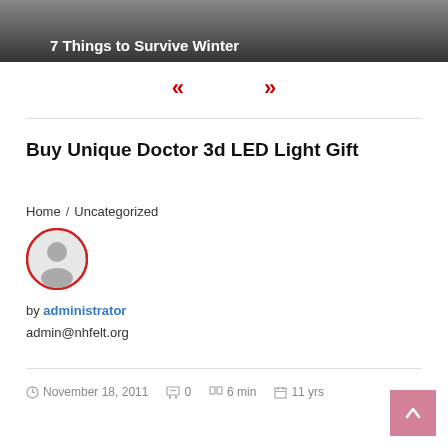[Figure (photo): Top image with text '7 Things to Survive Winter' overlaid on a dark background]
« »
Buy Unique Doctor 3d LED Light Gift
Home / Uncategorized
[Figure (illustration): Circular user avatar icon with red border]
by administrator
admin@nhfelt.org
November 18, 2011   0   6 min   11 yrs